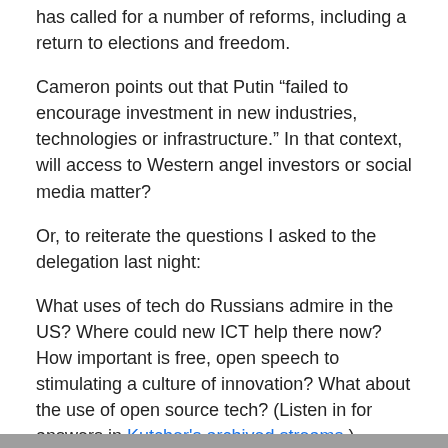has called for a number of reforms, including a return to elections and freedom.
Cameron points out that Putin “failed to encourage investment in new industries, technologies or infrastructure.” In that context, will access to Western angel investors or social media matter?
Or, to reiterate the questions I asked to the delegation last night:
What uses of tech do Russians admire in the US? Where could new ICT help there now? How important is free, open speech to stimulating a culture of innovation? What about the use of open source tech? (Listen in for answers in Kutcher’s archived streams.)
[Figure (photo): Gray/dark horizontal bar at the bottom of the page, partial image]